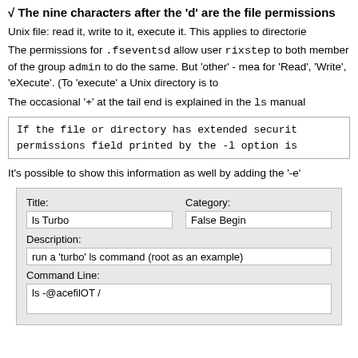√ The nine characters after the 'd' are the file permissions
Unix file: read it, write to it, execute it. This applies to directorie
The permissions for .fseventsd allow user rixstep to both member of the group admin to do the same. But 'other' - mea for 'Read', 'Write', 'eXecute'. (To 'execute' a Unix directory is to
The occasional '+' at the tail end is explained in the ls manual
If the file or directory has extended security
permissions field printed by the -l option is
It's possible to show this information as well by adding the '-e'
[Figure (screenshot): Form panel with Title field showing 'ls Turbo', Category field showing 'False Begin', Description field showing 'run a turbo ls command (root as an example)', Command Line field showing 'ls -@acefilOT /']